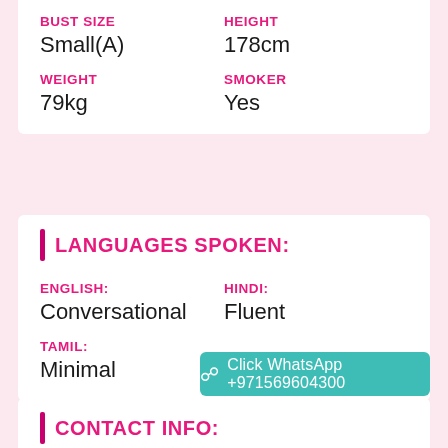BUST SIZE: Small(A)
HEIGHT: 178cm
WEIGHT: 79kg
SMOKER: Yes
LANGUAGES SPOKEN:
ENGLISH: Conversational
HINDI: Fluent
TAMIL: Minimal
CONTACT INFO:
Click WhatsApp +971569604300